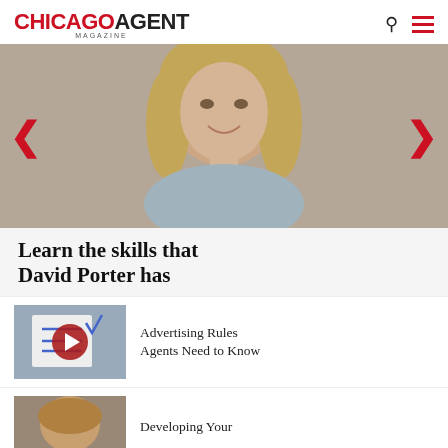CHICAGO AGENT MAGAZINE
[Figure (photo): Portrait of a woman with blonde hair wearing a light blue blazer, smiling, with carousel navigation arrows on either side]
Learn the skills that David Porter has
[Figure (screenshot): Video thumbnail showing a document with checkmarks and a play button overlay]
Advertising Rules Agents Need to Know
[Figure (photo): Partial video thumbnail at bottom of page]
Developing Your